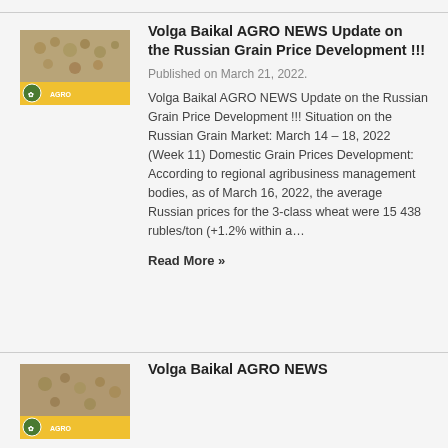[Figure (photo): Thumbnail image of grain/wheat with yellow branding element and logo for Volga Baikal AGRO NEWS, first article]
Volga Baikal AGRO NEWS Update on the Russian Grain Price Development !!!
Published on March 21, 2022.
Volga Baikal AGRO NEWS Update on the Russian Grain Price Development !!! Situation on the Russian Grain Market: March 14 – 18, 2022 (Week 11) Domestic Grain Prices Development: According to regional agribusiness management bodies, as of March 16, 2022, the average Russian prices for the 3-class wheat were 15 438 rubles/ton (+1.2% within a…
Read More »
[Figure (photo): Thumbnail image of wheat/grain with yellow branding element and logo for Volga Baikal AGRO NEWS, second article]
Volga Baikal AGRO NEWS